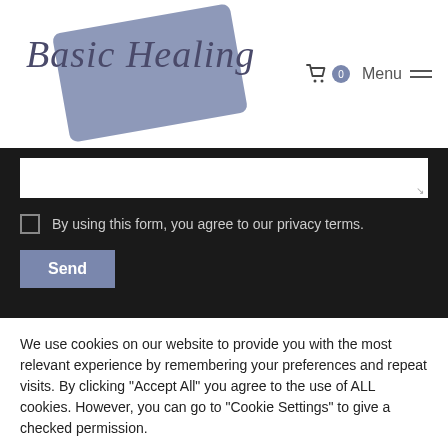[Figure (logo): Basic Healing logo with cursive text over a tilted blue-gray card]
By using this form, you agree to our privacy terms.
Send
We use cookies on our website to provide you with the most relevant experience by remembering your preferences and repeat visits. By clicking "Accept All" you agree to the use of ALL cookies. However, you can go to "Cookie Settings" to give a checked permission.
Cookie Settings
accept all